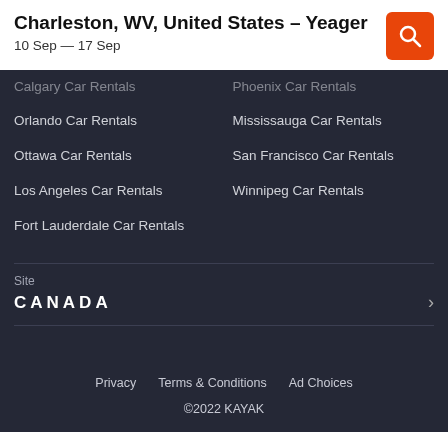Charleston, WV, United States – Yeager
10 Sep — 17 Sep
Calgary Car Rentals
Phoenix Car Rentals
Orlando Car Rentals
Mississauga Car Rentals
Ottawa Car Rentals
San Francisco Car Rentals
Los Angeles Car Rentals
Winnipeg Car Rentals
Fort Lauderdale Car Rentals
Site
CANADA
Privacy   Terms & Conditions   Ad Choices
©2022 KAYAK